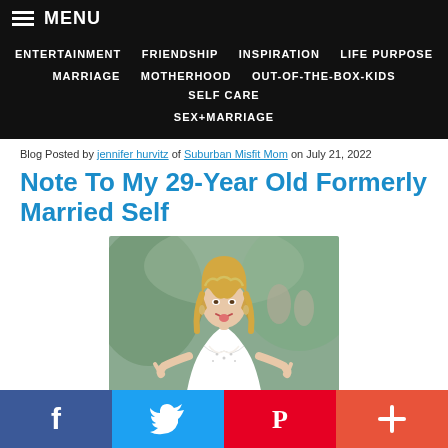MENU | ENTERTAINMENT | FRIENDSHIP | INSPIRATION | LIFE PURPOSE | MARRIAGE | MOTHERHOOD | OUT-OF-THE-BOX-KIDS | SELF CARE | SEX+MARRIAGE
Blog Posted by jennifer hurvitz of Suburban Misfit Mom on July 21, 2022
Note To My 29-Year Old Formerly Married Self
[Figure (photo): A young woman in a white wedding dress making a rock-on hand gesture with both hands and sticking out her tongue, smiling at the camera, with blurred outdoor scenery in the background.]
f | Twitter bird | P | +